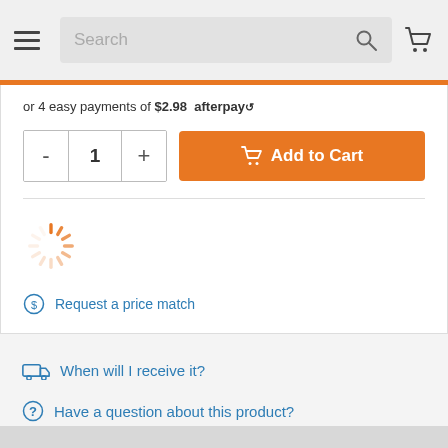Search
or 4 easy payments of $2.98  afterpay
[Figure (other): Quantity selector with minus and plus buttons showing value 1, and orange Add to Cart button with cart icon]
[Figure (other): Orange loading spinner animation]
Request a price match
When will I receive it?
Have a question about this product?